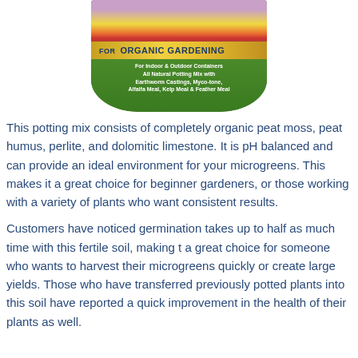[Figure (photo): Product bag of organic potting mix for gardening, showing flowers and vegetables on the packaging with green bag and gold banner reading 'FOR ORGANIC GARDENING'. Text on bag: 'For Indoor & Outdoor Containers, All Natural Potting Mix with Earthworm Castings, Myco-tone, Alfalfa Meal, Kelp Meal & Feather Meal']
This potting mix consists of completely organic peat moss, peat humus, perlite, and dolomitic limestone. It is pH balanced and can provide an ideal environment for your microgreens. This makes it a great choice for beginner gardeners, or those working with a variety of plants who want consistent results.
Customers have noticed germination takes up to half as much time with this fertile soil, making t a great choice for someone who wants to harvest their microgreens quickly or create large yields. Those who have transferred previously potted plants into this soil have reported a quick improvement in the health of their plants as well.